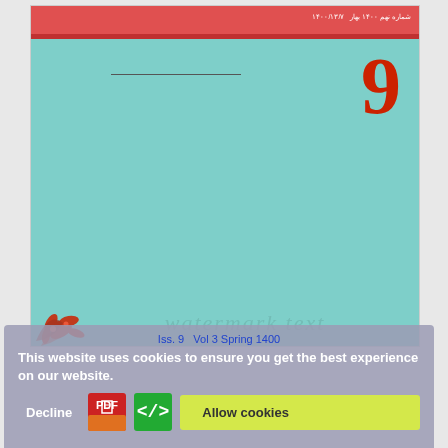[Figure (illustration): Journal cover page with teal/turquoise background, red top bar with Persian/Arabic text header, large red numeral '9' in top-right, a horizontal line in upper-center, red floral decoration in bottom-left corner, and faint watermark text at bottom center.]
Iss. 9   Vol 3 Spring 1400
This website uses cookies to ensure you get the best experience on our website.
Decline
Allow cookies
Submit Your Paper